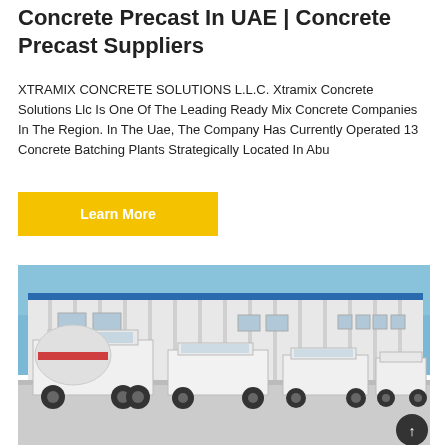Concrete Precast In UAE | Concrete Precast Suppliers
XTRAMIX CONCRETE SOLUTIONS L.L.C. Xtramix Concrete Solutions Llc Is One Of The Leading Ready Mix Concrete Companies In The Region. In The Uae, The Company Has Currently Operated 13 Concrete Batching Plants Strategically Located In Abu
Learn More
[Figure (photo): Photograph of concrete mixer trucks (white with red stripe) parked in front of a large industrial warehouse building with blue roof trim, under a clear blue sky.]